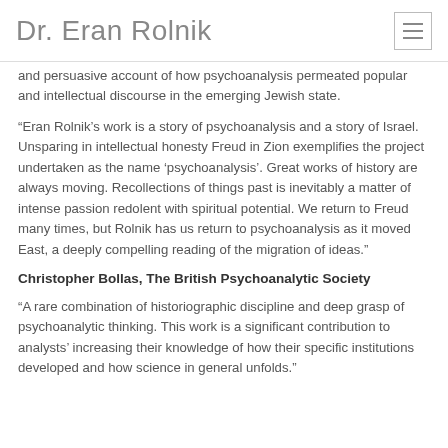Dr. Eran Rolnik
and persuasive account of how psychoanalysis permeated popular and intellectual discourse in the emerging Jewish state.
“Eran Rolnik’s work is a story of psychoanalysis and a story of Israel. Unsparing in intellectual honesty Freud in Zion exemplifies the project undertaken as the name ‘psychoanalysis’. Great works of history are always moving. Recollections of things past is inevitably a matter of intense passion redolent with spiritual potential. We return to Freud many times, but Rolnik has us return to psychoanalysis as it moved East, a deeply compelling reading of the migration of ideas.”
Christopher Bollas, The British Psychoanalytic Society
“A rare combination of historiographic discipline and deep grasp of psychoanalytic thinking. This work is a significant contribution to analysts’ increasing their knowledge of how their specific institutions developed and how science in general unfolds.”